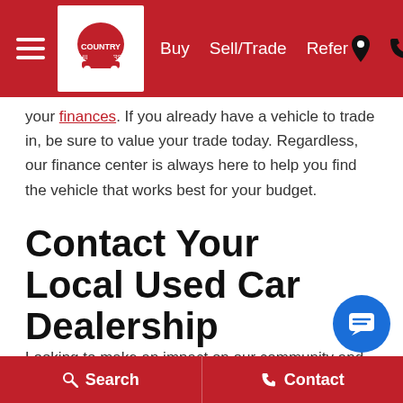Buy | Sell/Trade | Refer — Country Hill Motors navigation bar
your finances. If you already have a vehicle to trade in, be sure to value your trade today. Regardless, our finance center is always here to help you find the vehicle that works best for your budget.
Contact Your Local Used Car Dealership
Looking to make an impact on our community and improve your life? Come visit Country Hill Motors now and discover your next car. With YOU in mind, we're open until 8 PM Monday-Thursday and until 6 PM Friday-Satu... This allows you to come test drive any of our vehi...
Search | Contact